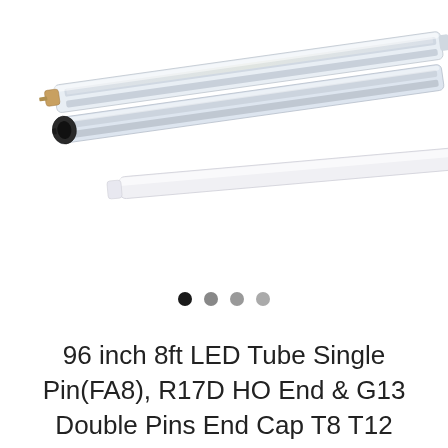[Figure (photo): Product photo showing three LED tube lights arranged diagonally. Top two tubes are clear/transparent with visible LED strips inside, and the bottom tube is white/frosted. Each tube has different end cap connectors: one with single pin (FA8), one with R17D HO end cap (black), and one with G13 double pins (small pins visible at the end).]
96 inch 8ft LED Tube Single Pin(FA8), R17D HO End & G13 Double Pins End Cap T8 T12 Fluorescent Replacement with ETL